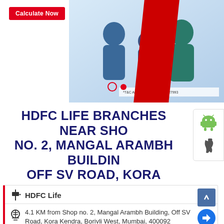[Figure (photo): HDFC Life banner with family photo (mother, child, father) and red graphic element, with Calculate Now button and T&C text]
HDFC LIFE BRANCHES NEAR SHOP NO. 2, MANGAL ARAMBH BUILDING, OFF SV ROAD, KORA KENDRA, BORIVLI WEST, MUMBAI, 400092
HDFC Life
4.1 KM from Shop no. 2, Mangal Arambh Building, Off SV Road, Kora Kendra, Borivli West, Mumbai, 400092